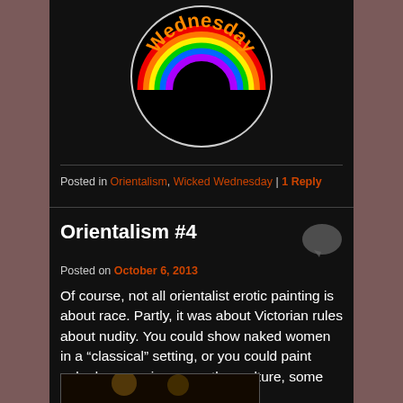[Figure (logo): Circular logo with rainbow arc and text 'Wednesday' in orange on black background]
Posted in Orientalism, Wicked Wednesday | 1 Reply
Orientalism #4
Posted on October 6, 2013
Of course, not all orientalist erotic painting is about race. Partly, it was about Victorian rules about nudity. You could show naked women in a “classical” setting, or you could paint naked women in some other culture, some far-away place.
[Figure (photo): Partial view of an image at the bottom of the page]